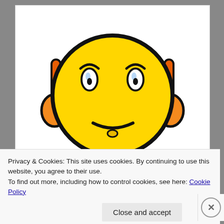[Figure (illustration): A cartoon emoji character with a yellow round face showing a worried/stressed expression, wearing orange headphones, with light blue hands/fists raised, and additional small cartoon elements at the bottom]
Privacy & Cookies: This site uses cookies. By continuing to use this website, you agree to their use.
To find out more, including how to control cookies, see here: Cookie Policy